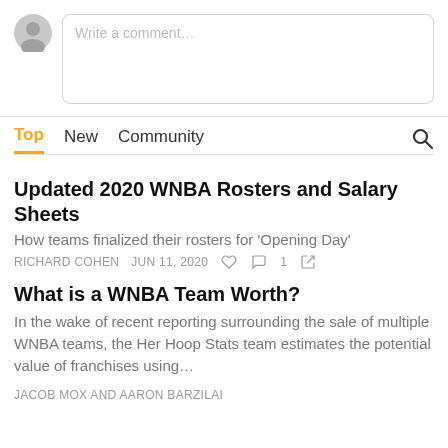[Figure (other): Comment input area with avatar and text box placeholder 'Write a comment...']
Top  New  Community
Updated 2020 WNBA Rosters and Salary Sheets
How teams finalized their rosters for 'Opening Day'
RICHARD COHEN  JUN 11, 2020  ♡  ○ 1  ↗
What is a WNBA Team Worth?
In the wake of recent reporting surrounding the sale of multiple WNBA teams, the Her Hoop Stats team estimates the potential value of franchises using…
JACOB MOX AND AARON BARZILAI